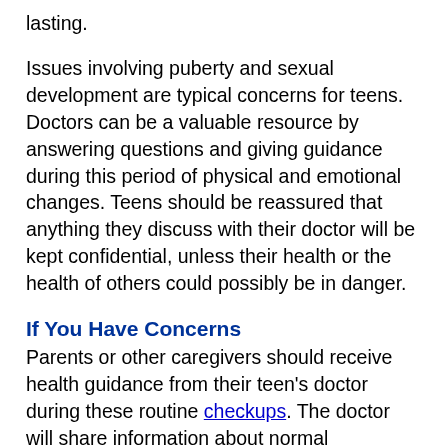lasting.
Issues involving puberty and sexual development are typical concerns for teens. Doctors can be a valuable resource by answering questions and giving guidance during this period of physical and emotional changes. Teens should be reassured that anything they discuss with their doctor will be kept confidential, unless their health or the health of others could possibly be in danger.
If You Have Concerns
Parents or other caregivers should receive health guidance from their teen's doctor during these routine checkups. The doctor will share information about normal development, including signs and symptoms of illness or emotional distress and ways to watch for and manage potentially harmful behaviors.